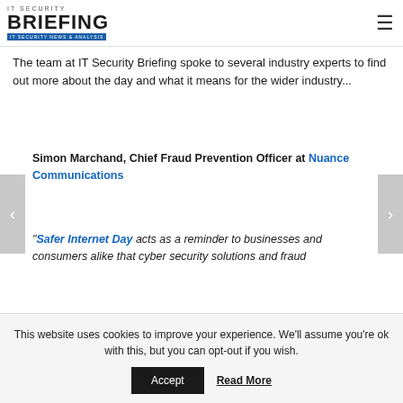IT SECURITY BRIEFING IT SECURITY NEWS & ANALYSIS
The team at IT Security Briefing spoke to several industry experts to find out more about the day and what it means for the wider industry...
Simon Marchand, Chief Fraud Prevention Officer at Nuance Communications
"Safer Internet Day acts as a reminder to businesses and consumers alike that cyber security solutions and fraud
This website uses cookies to improve your experience. We'll assume you're ok with this, but you can opt-out if you wish.